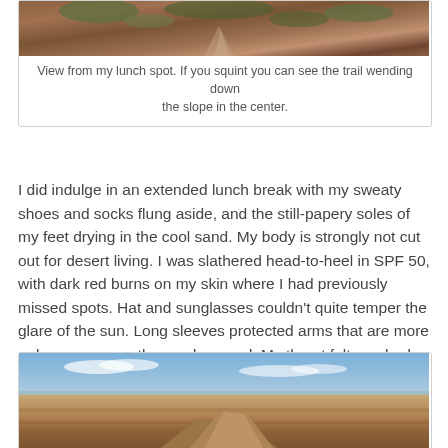[Figure (photo): Aerial or elevated view of a rocky desert slope with reddish-brown rock and sparse vegetation, showing a trail winding down the center of the slope.]
View from my lunch spot. If you squint you can see the trail wending down the slope in the center.
I did indulge in an extended lunch break with my sweaty shoes and socks flung aside, and the still-papery soles of my feet drying in the cool sand. My body is strongly not cut out for desert living. I was slathered head-to-heel in SPF 50, with dark red burns on my skin where I had previously missed spots. Hat and sunglasses couldn't quite temper the glare of the sun. Long sleeves protected arms that are more or less permanently sun-damaged. My throat felt parched even though I was gulping down two to three liters of water on these five- and four-hour outings. I was sneezing and wheezing from spring allergies despite Claritin and Singular. Still, I was happy, nonetheless.
[Figure (photo): View of a canyon landscape with layered red rock formations in the foreground, a wide valley below, and blue sky with light clouds above.]